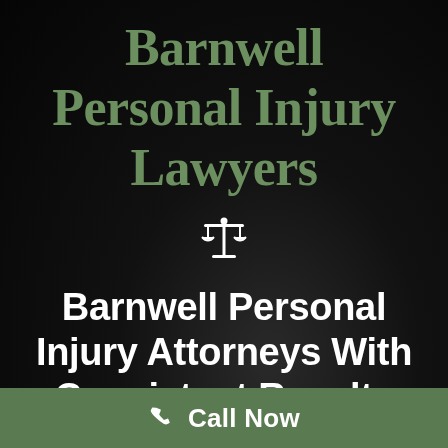Barnwell Personal Injury Lawyers
[Figure (illustration): Scales of justice icon in white]
Barnwell Personal Injury Attorneys With Consistent Results
Call Now